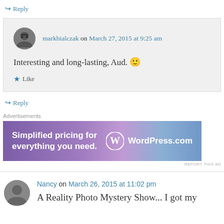↪ Reply
markbialczak on March 27, 2015 at 9:25 am
Interesting and long-lasting, Aud. 🙂
★ Like
↪ Reply
Advertisements
[Figure (screenshot): WordPress.com advertisement banner: 'Simplified pricing for everything you need.' with WordPress.com logo]
REPORT THIS AD
Nancy on March 26, 2015 at 11:02 pm
A Reality Photo Mystery Show... I got my